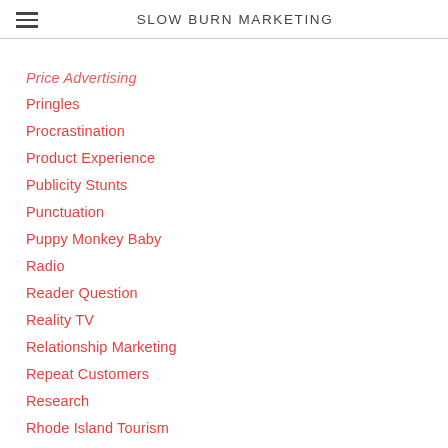SLOW BURN MARKETING
Price Advertising
Pringles
Procrastination
Product Experience
Publicity Stunts
Punctuation
Puppy Monkey Baby
Radio
Reader Question
Reality TV
Relationship Marketing
Repeat Customers
Research
Rhode Island Tourism
Road Trip
Romance
Rosser Reeves
Sailing